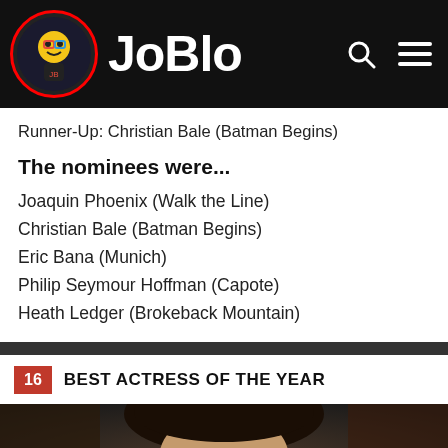JoBlo
Runner-Up: Christian Bale (Batman Begins)
The nominees were...
Joaquin Phoenix (Walk the Line)
Christian Bale (Batman Begins)
Eric Bana (Munich)
Philip Seymour Hoffman (Capote)
Heath Ledger (Brokeback Mountain)
16 BEST ACTRESS OF THE YEAR
[Figure (photo): Partial photo of a woman with dark hair, top portion visible]
Up To $110 Instant Savings
VirginiaTire & Auto of Ashburn Fa.